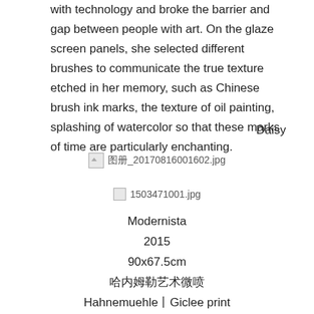with technology and broke the barrier and gap between people with art. On the glaze screen panels, she selected different brushes to communicate the true texture etched in her memory, such as Chinese brush ink marks, the texture of oil painting, splashing of watercolor so that these marks of time are particularly enchanting.
Daisy
[Figure (photo): Broken image placeholder with filename 图册_20170816001602.jpg]
[Figure (photo): Broken image placeholder with filename 1503471001.jpg]
Modernista
2015
90x67.5cm
哈内姆勒艺术微喷
Hahnemuehle丨Giclee print
2/8